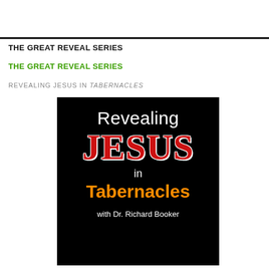THE GREAT REVEAL SERIES
THE GREAT REVEAL SERIES
REVEALING JESUS IN TABERNACLES
[Figure (photo): Book cover for 'Revealing JESUS in Tabernacles with Dr. Richard Booker' — black background with white text 'Revealing', large red styled text 'JESUS', white text 'in', orange bold text 'Tabernacles', white text 'with Dr. Richard Booker']